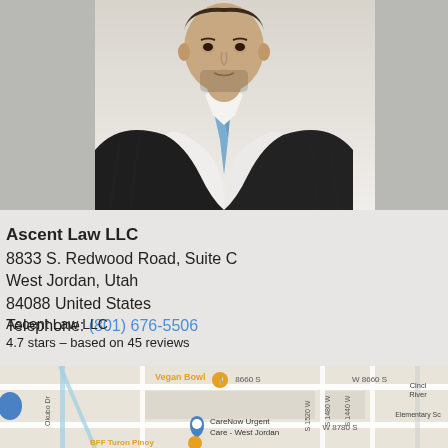[Figure (photo): Professional headshot of a man in a dark pinstripe suit with a light blue tie, white shirt, against a light background]
Ascent Law LLC
8833 S. Redwood Road, Suite C
West Jordan, Utah
84088 United States
Telephone: (801) 676-5506
Ascent Law LLC
4.7 stars – based on 45 reviews
[Figure (map): Google Maps view showing the area around 8833 S. Redwood Road, West Jordan, Utah, with nearby landmarks including Vegan Bowl, CareNow Urgent Care - West Jordan, BFF Turon Pinoy, and Cincinnati River Elementary School]